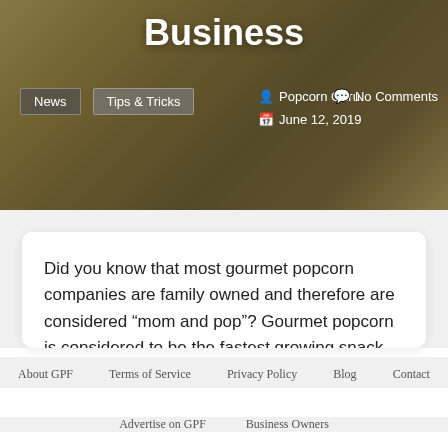Business
News  Tips & Tricks   Popcorn Guru   No Comments   June 12, 2019
Did you know that most gourmet popcorn companies are family owned and therefore are considered “mom and pop”? Gourmet popcorn is considered to be the fastest growing snack food business among entrepreneurs. Whether you are a family of five or just a one man show,
About GPF  Terms of Service  Privacy Policy  Blog  Contact
Advertise on GPF  Business Owners